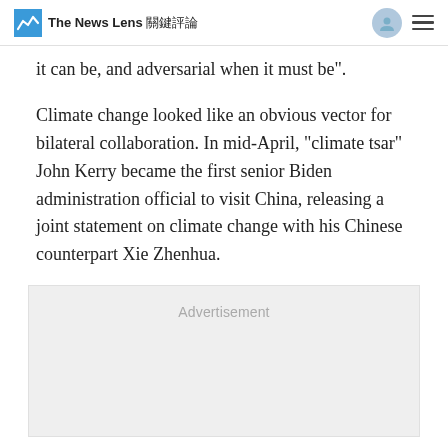The News Lens 關鍵評論
it can be, and adversarial when it must be”.
Climate change looked like an obvious vector for bilateral collaboration. In mid-April, “climate tsar” John Kerry became the first senior Biden administration official to visit China, releasing a joint statement on climate change with his Chinese counterpart Xie Zhenhua.
[Figure (other): Advertisement placeholder box with light gray background]